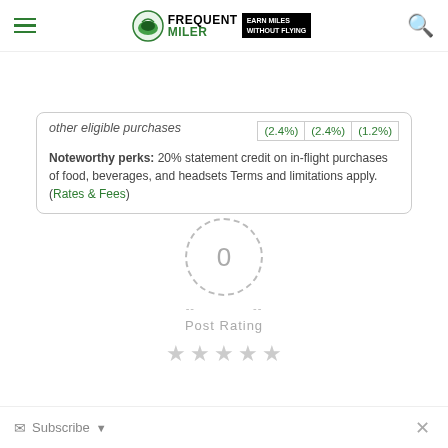Frequent Miler — Earn Miles Without Flying
other eligible purchases
|  |  |  |
| --- | --- | --- |
| (2.4%) | (2.4%) | (1.2%) |
Noteworthy perks: 20% statement credit on in-flight purchases of food, beverages, and headsets Terms and limitations apply. (Rates & Fees)
[Figure (other): Rating widget showing 0 in a dashed circle, with dashes on either side, 'Post Rating' label below, and 5 empty grey stars]
Subscribe ▾